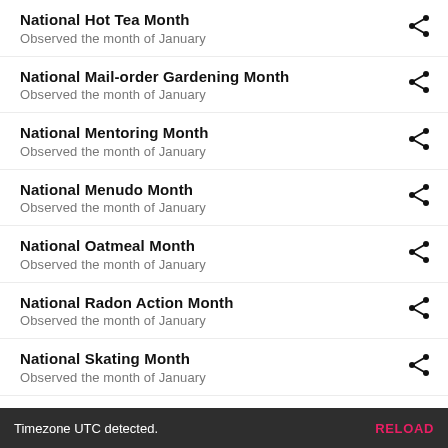National Hot Tea Month
Observed the month of January
National Mail-order Gardening Month
Observed the month of January
National Mentoring Month
Observed the month of January
National Menudo Month
Observed the month of January
National Oatmeal Month
Observed the month of January
National Radon Action Month
Observed the month of January
National Skating Month
Observed the month of January
National Slavery and Human Trafficking Prevention Month (partial)
Timezone UTC detected.  RELOAD